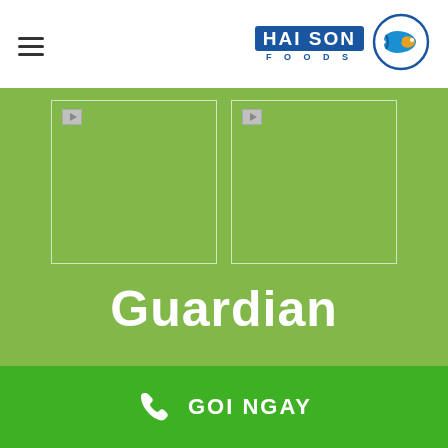HAI SON FOODS
[Figure (photo): Two placeholder images side by side on a green background]
Guardian
GOI NGAY